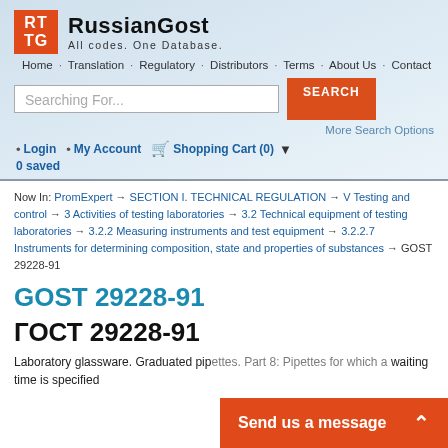RUSSIANGOST - All codes. One Database.
Home · Translation · Regulatory · Distributors · Terms · About Us · Contact
Searching For... [SEARCH] More Search Options
• Login • My Account 🛒 Shopping Cart (0) ▾ 0 saved
Now In: PromExpert → SECTION I. TECHNICAL REGULATION → V Testing and control → 3 Activities of testing laboratories → 3.2 Technical equipment of testing laboratories → 3.2.2 Measuring instruments and test equipment → 3.2.2.7 Instruments for determining composition, state and properties of substances → GOST 29228-91
GOST 29228-91
ГОСТ 29228-91
Laboratory glassware. Graduated pipettes. Part 8: Pipettes for which a waiting time is specified
Send us a message ▲